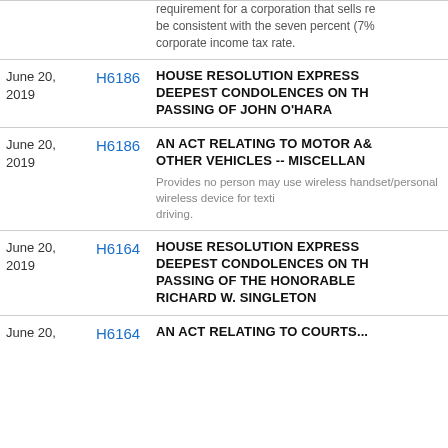requirement for a corporation that sells re... be consistent with the seven percent (7%... corporate income tax rate.
| Date | Bill | Description |
| --- | --- | --- |
| June 20, 2019 | H6186 | HOUSE RESOLUTION EXPRESSING... DEEPEST CONDOLENCES ON THE PASSING OF JOHN O'HARA |
| June 20, 2019 | H6186 | AN ACT RELATING TO MOTOR AND OTHER VEHICLES -- MISCELLANEOUS -- Provides no person may use wireless handset/personal wireless device for texting while driving. |
| June 20, 2019 | H6164 | HOUSE RESOLUTION EXPRESSING... DEEPEST CONDOLENCES ON THE PASSING OF THE HONORABLE RICHARD W. SINGLETON |
| June 20, | H6164 | AN ACT RELATING TO COURTS... |